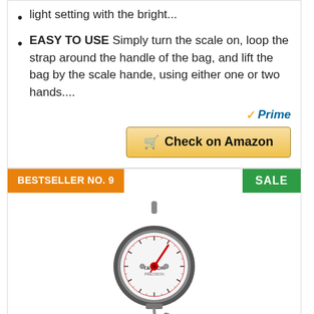light setting with the bright...
EASY TO USE Simply turn the scale on, loop the strap around the handle of the bag, and lift the bag by the scale hande, using either one or two hands....
[Figure (logo): Amazon Prime logo with orange checkmark and 'Prime' in blue italic text]
[Figure (other): Yellow 'Check on Amazon' button with cart icon]
BESTSELLER NO. 9
SALE
[Figure (photo): Taylor Precision Products dial style hanging luggage scale with red needle, hook, and circular face]
Taylor Precision Products Dial Style...